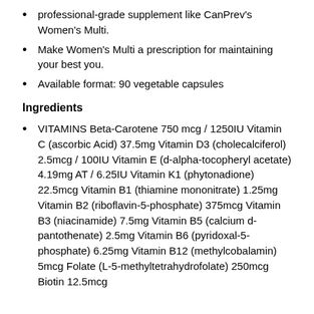professional-grade supplement like CanPrev's Women's Multi.
Make Women's Multi a prescription for maintaining your best you.
Available format: 90 vegetable capsules
Ingredients
VITAMINS Beta-Carotene 750 mcg / 1250IU Vitamin C (ascorbic Acid) 37.5mg Vitamin D3 (cholecalciferol) 2.5mcg / 100IU Vitamin E (d-alpha-tocopheryl acetate) 4.19mg AT / 6.25IU Vitamin K1 (phytonadione) 22.5mcg Vitamin B1 (thiamine mononitrate) 1.25mg Vitamin B2 (riboflavin-5-phosphate) 375mcg Vitamin B3 (niacinamide) 7.5mg Vitamin B5 (calcium d-pantothenate) 2.5mg Vitamin B6 (pyridoxal-5-phosphate) 6.25mg Vitamin B12 (methylcobalamin) 5mcg Folate (L-5-methyltetrahydrofolate) 250mcg Biotin 12.5mcg